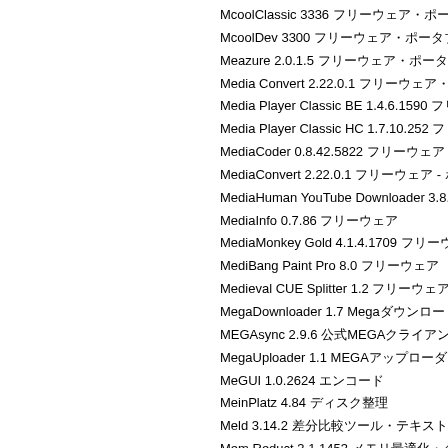McoolClassic 3336 フリーウェア・ポータブル
McoolDev 3300 フリーウェア・ポータブル・日本語
Meazure 2.0.1.5 フリーウェア・ポータブル
Media Convert 2.22.0.1 フリーウェア・ポータブル
Media Player Classic BE 1.4.6.1590 フリーウェア - ポータブル
Media Player Classic HC 1.7.10.252 フリーウェア - ポータブル
MediaCoder 0.8.42.5822 フリーウェア
MediaConvert 2.22.0.1 フリーウェア - ポータブル
MediaHuman YouTube Downloader 3.8.3 フリーウェア
MediaInfo 0.7.86 フリーウェア
MediaMonkey Gold 4.1.4.1709 フリーウェア・ポータブル・日本語対応
MediBang Paint Pro 8.0 フリーウェア
Medieval CUE Splitter 1.2 フリーウェア
MegaDownloader 1.7 Megaダウンロードクライアント
MEGAsync 2.9.6 公式MEGAクライアントソフト
MegaUploader 1.1 MEGAアップローダー
MeGUI 1.0.2624 エンコード
MeinPlatz 4.84 ディスク整理
Meld 3.14.2 差分比較ツール・テキスト比較
Mem Reduct 3.1.1453 メモリ最適化・クリーンアップ
MemTest 4.6 メモリテスト
MemTest pro 3.3 メモリテスト
MEmu 2.2.1 エミュレーター - AndroidアプリのPlayゲーム実行